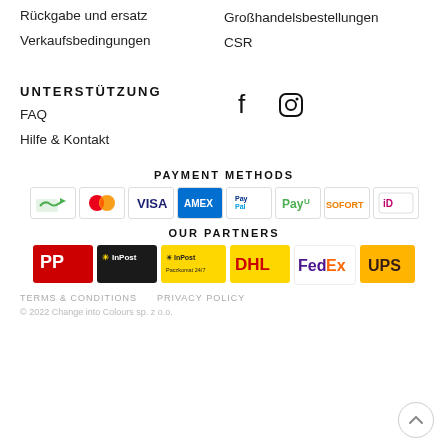Rückgabe und ersatz
Großhandelsbestellungen
Verkaufsbedingungen
CSR
UNTERSTÜTZUNG
[Figure (other): Facebook and Instagram social media icons]
FAQ
Hilfe & Kontakt
PAYMENT METHODS
[Figure (other): Payment method logos: transfer/cash, Mastercard, VISA, AMEX, PayPal, PayU, SOFORT, iDEAL]
OUR PARTNERS
[Figure (other): Partner logos: Poczta Polska, InPost, InPost Paczkomat 24/7, DHL, FedEx, UPS]
TERMS & CONDITIONS   PRIVACY POLICY
© 2022 Change into Colours sp. z o.o.